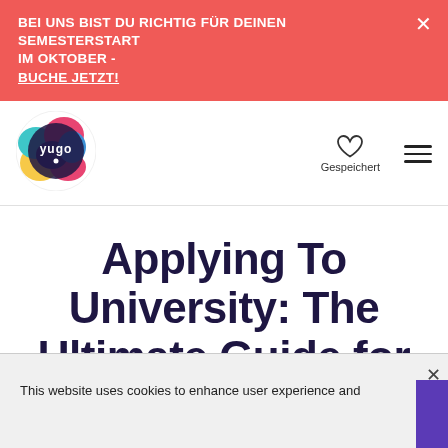BEI UNS BIST DU RICHTIG FÜR DEINEN SEMESTERSTART IM OKTOBER - BUCHE JETZT!
[Figure (logo): Yugo circular logo with colorful abstract shapes and white 'yugo' text]
Gespeichert
Applying To University: The Ultimate Guide for Sixth Form Students
This website uses cookies to enhance user experience and